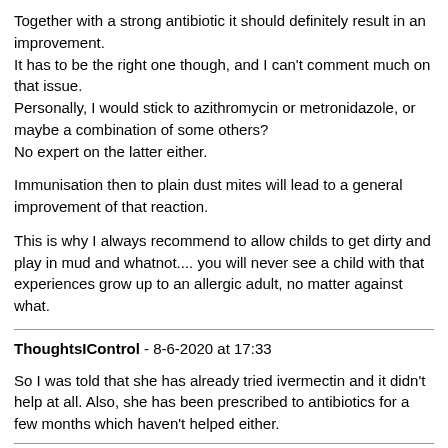Together with a strong antibiotic it should definitely result in an improvement.
It has to be the right one though, and I can't comment much on that issue.
Personally, I would stick to azithromycin or metronidazole, or maybe a combination of some others?
No expert on the latter either.
Immunisation then to plain dust mites will lead to a general improvement of that reaction.
This is why I always recommend to allow childs to get dirty and play in mud and whatnot.... you will never see a child with that experiences grow up to an allergic adult, no matter against what.
ThoughtsIControl - 8-6-2020 at 17:33
So I was told that she has already tried ivermectin and it didn't help at all. Also, she has been prescribed to antibiotics for a few months which haven't helped either.
If anyone has other treatment or diagnosis suggestions then I would love to hear them!